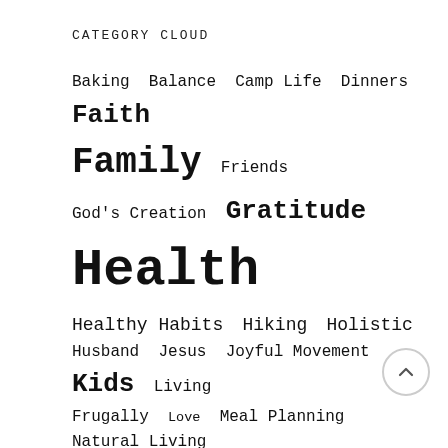CATEGORY CLOUD
Baking  Balance  Camp Life  Dinners  Faith  Family  Friends  God's Creation  Gratitude  Health  Healthy Habits  Hiking  Holistic  Husband  Jesus  Joyful Movement  Kids  Living Frugally  Love  Meal Planning  Natural Living  Organization  Prayer  Recipes  Reflection  Routine  Simple Living  Whole Foods  Wild + Free Family  Wild + Free Mama